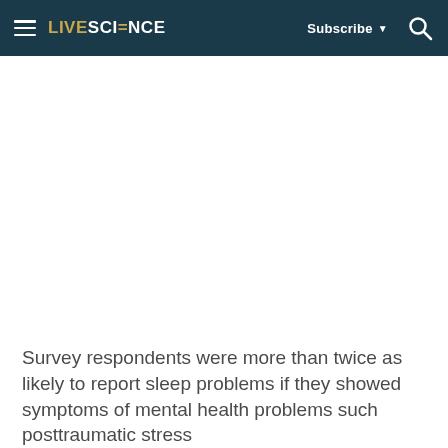LIVESCIENCE  Subscribe  🔍
Survey respondents were more than twice as likely to report sleep problems if they showed symptoms of mental health problems such posttraumatic stress